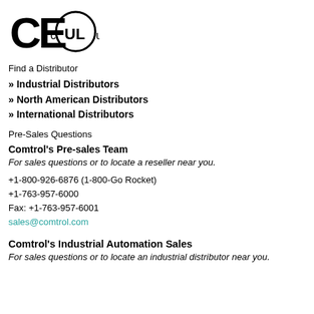[Figure (logo): CE mark and cULus certification logos]
Find a Distributor
» Industrial Distributors
» North American Distributors
» International Distributors
Pre-Sales Questions
Comtrol's Pre-sales Team
For sales questions or to locate a reseller near you.
+1-800-926-6876 (1-800-Go Rocket)
+1-763-957-6000
Fax: +1-763-957-6001
sales@comtrol.com
Comtrol's Industrial Automation Sales
For sales questions or to locate an industrial distributor near you.